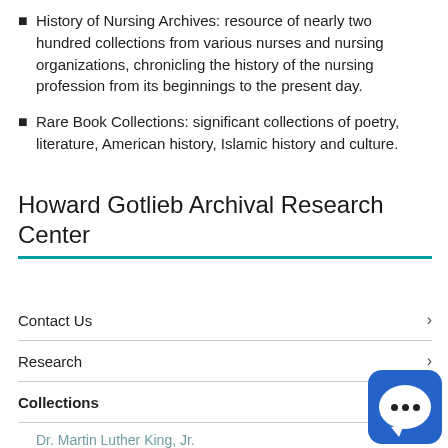History of Nursing Archives: resource of nearly two hundred collections from various nurses and nursing organizations, chronicling the history of the nursing profession from its beginnings to the present day.
Rare Book Collections: significant collections of poetry, literature, American history, Islamic history and culture.
Howard Gotlieb Archival Research Center
Contact Us
Research
Collections
Dr. Martin Luther King, Jr.
Thurman
Elie Wiesel